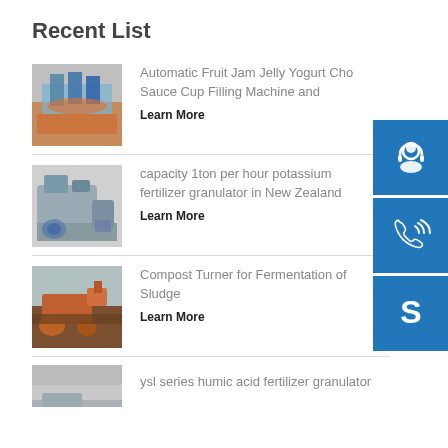Recent List
Automatic Fruit Jam Jelly Yogurt Cho Sauce Cup Filling Machine and
Learn More
capacity 1ton per hour potassium fertilizer granulator in New Zealand
Learn More
Compost Turner for Fermentation of Sludge
Learn More
ysl series humic acid fertilizer granulator